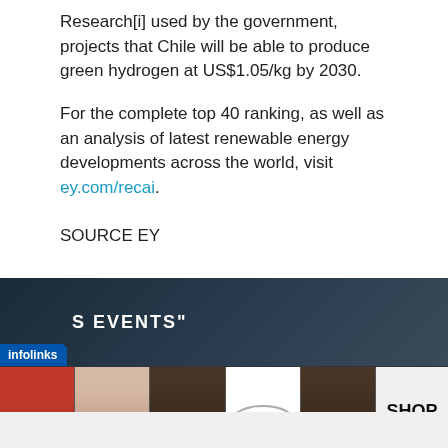Research[i] used by the government, projects that Chile will be able to produce green hydrogen at US$1.05/kg by 2030.
For the complete top 40 ranking, as well as an analysis of latest renewable energy developments across the world, visit ey.com/recai.
SOURCE EY
[Figure (other): Advertisement banner with dark background showing 'S EVENTS' text, infolinks badge, and a row of cosmetic advertisement images including lips, makeup brush, eyes, ULTA beauty logo, eyes, and SHOP NOW text]